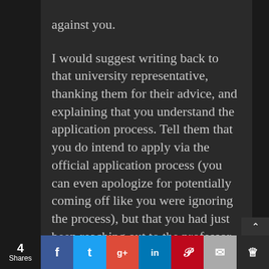against you. I would suggest writing back to that university representative, thanking them for their advice, and explaining that you understand the application process. Tell them that you do intend to apply via the official application process (you can even apologize for potentially coming off like you were ignoring the process), but that you had just been reaching out to the professor in advance because you were interested in their research and wanted to learn more in order to make sure this was the university and program that would be best
4 Shares | f | t | g+ | in | p | mail | crown